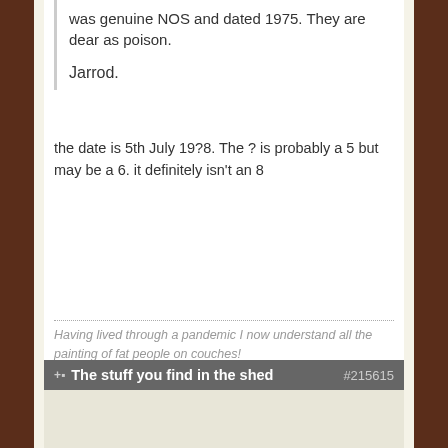was genuine NOS and dated 1975. They are dear as poison.

Jarrod.
the date is 5th July 19?8. The ? is probably a 5 but may be a 6. it definitely isn't an 8
Having lived through a pandemic I now understand all the painting of fat people on couches!
The following user(s) said Thank You: asw120
Please Log in to join the conversation.
The stuff you find in the shed #215615